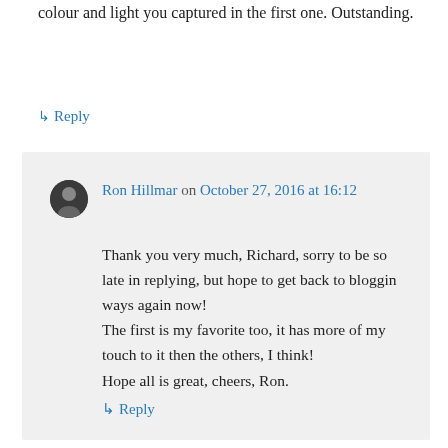colour and light you captured in the first one. Outstanding.
↳ Reply
Ron Hillmar on October 27, 2016 at 16:12
Thank you very much, Richard, sorry to be so late in replying, but hope to get back to bloggin ways again now! The first is my favorite too, it has more of my touch to it then the others, I think! Hope all is great, cheers, Ron.
↳ Reply